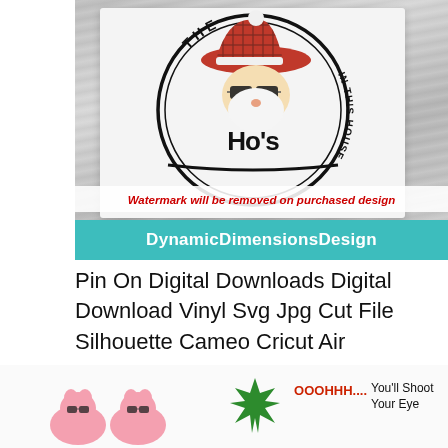[Figure (photo): Product image of a white t-shirt with a Santa Claus wearing sunglasses and a buffalo plaid hat, circle design reading 'Ho's In This House'. Red italic text watermark 'Watermark will be removed on purchased design' and teal banner with 'DynamicDimensionsDesign' at the bottom.]
Pin On Digital Downloads Digital Download Vinyl Svg Jpg Cut File Silhouette Cameo Cricut Air
[Figure (photo): Bottom strip showing two partial product images: left shows pink pig characters with glasses, right shows a green spiky design with red 'OOOHHH....' text and black text 'You'll Shoot Your Eye']